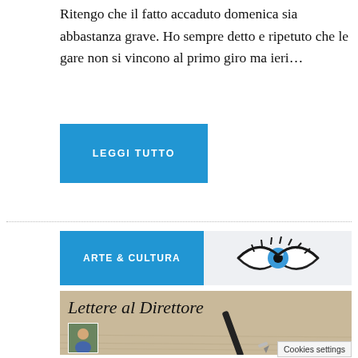Ritengo che il fatto accaduto domenica sia abbastanza grave. Ho sempre detto e ripetuto che le gare non si vincono al primo giro ma ieri…
LEGGI TUTTO
ARTE & CULTURA
[Figure (illustration): Eye illustration with blue iris and dark lashes, used as decorative logo for Arte & Cultura section]
[Figure (photo): Image titled 'Lettere al Direttore' with italic text over a parchment background, showing a fountain pen and a small portrait photo of an older man in the lower left corner]
Cookies settings